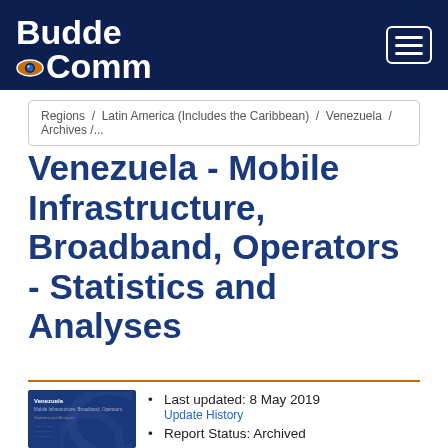[Figure (logo): BuddeComm logo with eye icon on dark navy header bar]
Regions / Latin America (Includes the Caribbean) / Venezuela / Archives /...
Venezuela - Mobile Infrastructure, Broadband, Operators - Statistics and Analyses
[Figure (photo): Report cover thumbnail showing Venezuela Mobile Infrastructure Broadband Operators report in dark navy blue]
Last updated: 8 May 2019
Update History
Report Status: Archived
Report Pages: 40
Analyst: Henry Lancaster